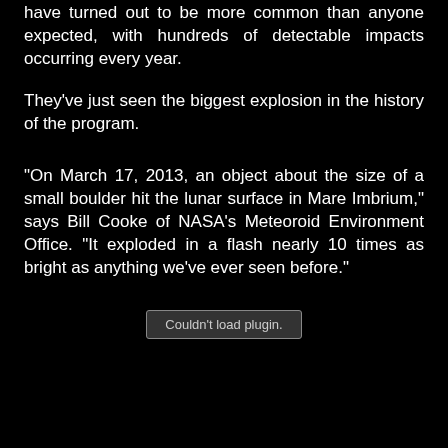have turned out to be more common than anyone expected, with hundreds of detectable impacts occurring every year.
They've just seen the biggest explosion in the history of the program.
"On March 17, 2013, an object about the size of a small boulder hit the lunar surface in Mare Imbrium," says Bill Cooke of NASA's Meteoroid Environment Office. "It exploded in a flash nearly 10 times as bright as anything we've ever seen before."
[Figure (other): Couldn't load plugin. placeholder box for embedded media plugin]